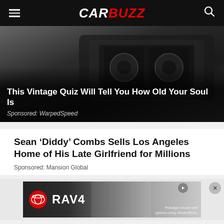CARBUZZ
[Figure (photo): Close-up of a black VHS tape cassette on dark background]
This Vintage Quiz Will Tell You How Old Your Soul Is
Sponsored: WarpedSpeed
Sean ‘Diddy’ Combs Sells Los Angeles Home of His Late Girlfriend for Millions
Sponsored: Mansion Global
[Figure (photo): Toyota RAV4 advertisement banner showing the SUV with Toyota logo and text 'RAV4' and disclaimer 'Prototype shown with options using visual effects.']
Social share buttons: Facebook, Twitter, Pinterest, WhatsApp, Email